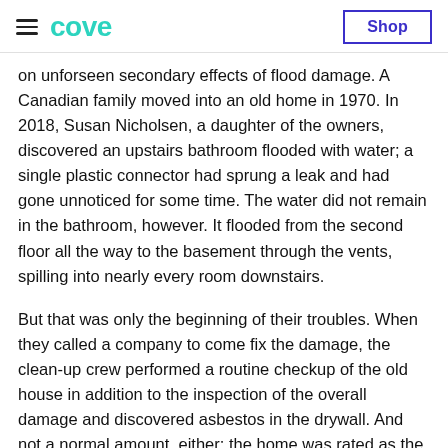cove | Shop
on unforseen secondary effects of flood damage. A Canadian family moved into an old home in 1970. In 2018, Susan Nicholsen, a daughter of the owners, discovered an upstairs bathroom flooded with water; a single plastic connector had sprung a leak and had gone unnoticed for some time. The water did not remain in the bathroom, however. It flooded from the second floor all the way to the basement through the vents, spilling into nearly every room downstairs.
But that was only the beginning of their troubles. When they called a company to come fix the damage, the clean-up crew performed a routine checkup of the old house in addition to the inspection of the overall damage and discovered asbestos in the drywall. And not a normal amount, either: the home was rated as the highest asbestos